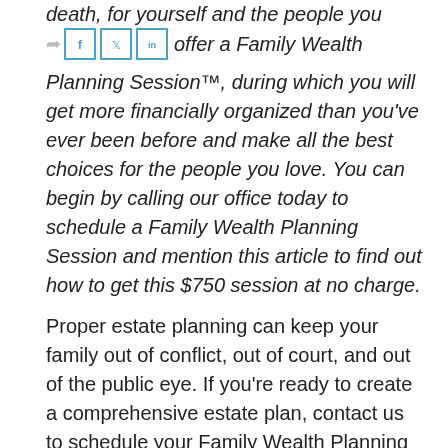death, for yourself and the people you love.
[Figure (other): Social media share buttons: share icon, Facebook (f), Twitter (bird), LinkedIn (in)]
offer a Family Wealth Planning Session™, during which you will get more financially organized than you've ever been before and make all the best choices for the people you love. You can begin by calling our office today to schedule a Family Wealth Planning Session and mention this article to find out how to get this $750 session at no charge.
Proper estate planning can keep your family out of conflict, out of court, and out of the public eye. If you're ready to create a comprehensive estate plan, contact us to schedule your Family Wealth Planning